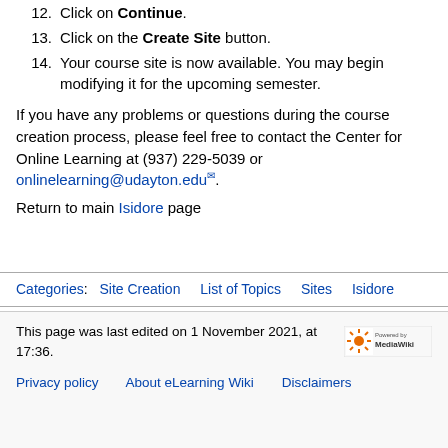12. Click on Continue.
13. Click on the Create Site button.
14. Your course site is now available. You may begin modifying it for the upcoming semester.
If you have any problems or questions during the course creation process, please feel free to contact the Center for Online Learning at (937) 229-5039 or onlinelearning@udayton.edu.
Return to main Isidore page
Categories: Site Creation  List of Topics  Sites  Isidore
This page was last edited on 1 November 2021, at 17:36.
Privacy policy  About eLearning Wiki  Disclaimers